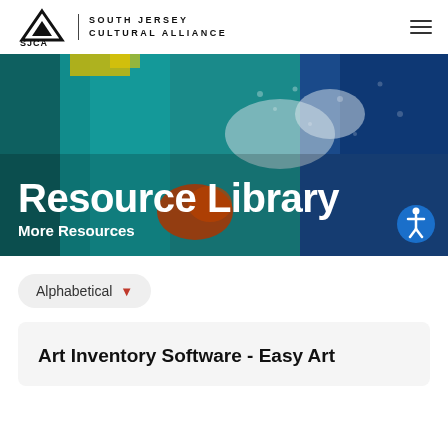SOUTH JERSEY CULTURAL ALLIANCE
[Figure (illustration): Hero banner with abstract colorful painting background in teal, blue, orange, and yellow. White text reads 'Resource Library' and 'More Resources'. Blue accessibility icon button in bottom right.]
Resource Library
More Resources
Alphabetical
Art Inventory Software - Easy Art